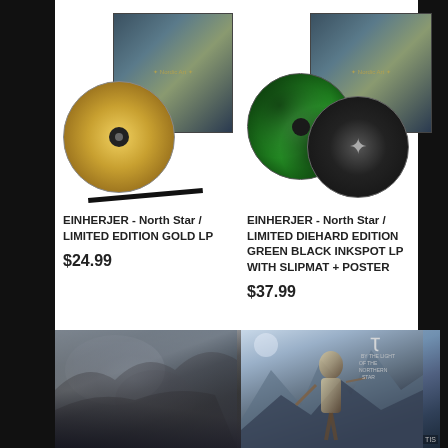[Figure (photo): Vinyl records product photo: gold LP with dark album art showing ornate Nordic design on dark teal background]
EINHERJER - North Star / LIMITED EDITION GOLD LP
$24.99
[Figure (photo): Vinyl records product photo: green black inkspot LP and black LP with Nordic symbol, with dark teal ornate album art]
EINHERJER - North Star / LIMITED DIEHARD EDITION GREEN BLACK INKSPOT LP WITH SLIPMAT + POSTER
$37.99
[Figure (photo): Dark rocky cave/mountain landscape album art, mostly dark gray and blue tones with light highlights]
[Figure (photo): Viking warrior standing in snowy mountain landscape with sword; TYR logo and text 'BY THE LIGHT OF THE NORTHERN STAR' visible in upper right]